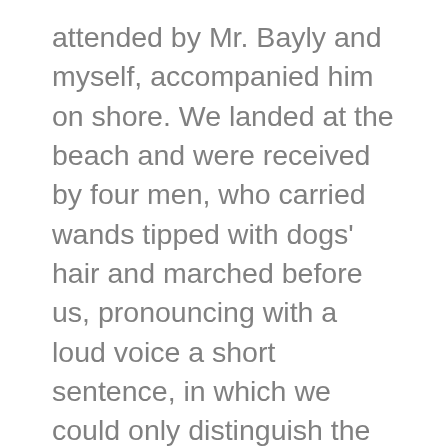attended by Mr. Bayly and myself, accompanied him on shore. We landed at the beach and were received by four men, who carried wands tipped with dogs' hair and marched before us, pronouncing with a loud voice a short sentence, in which we could only distinguish the word “Lono.” The crowd which had been collected on the shore retired at our approach, and not a person was to be seen except a few lying prostrate on the ground, near the